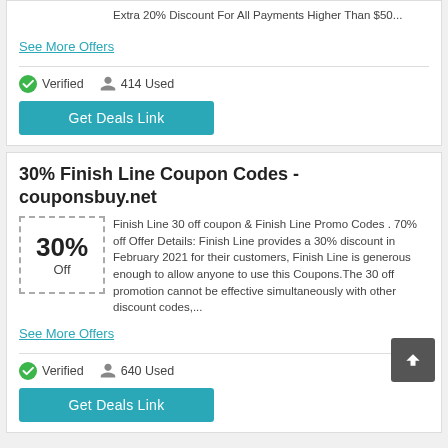Extra 20% Discount For All Payments Higher Than $50...
See More Offers
Verified   414 Used
Get Deals Link
30% Finish Line Coupon Codes - couponsbuy.net
Finish Line 30 off coupon & Finish Line Promo Codes . 70% off Offer Details: Finish Line provides a 30% discount in February 2021 for their customers, Finish Line is generous enough to allow anyone to use this Coupons.The 30 off promotion cannot be effective simultaneously with other discount codes,...
See More Offers
Verified   640 Used
Get Deals Link